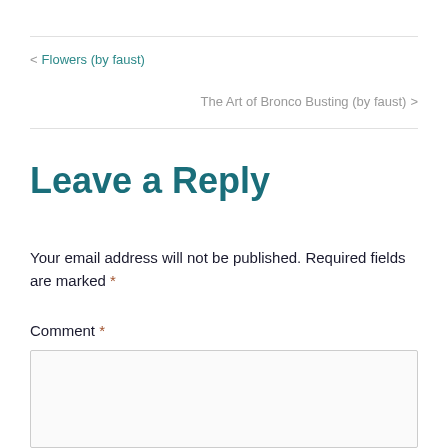< Flowers (by faust)
The Art of Bronco Busting (by faust) >
Leave a Reply
Your email address will not be published. Required fields are marked *
Comment *